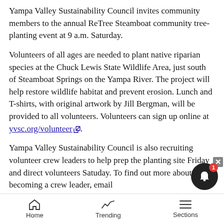Yampa Valley Sustainability Council invites community members to the annual ReTree Steamboat community tree-planting event at 9 a.m. Saturday.
Volunteers of all ages are needed to plant native riparian species at the Chuck Lewis State Wildlife Area, just south of Steamboat Springs on the Yampa River. The project will help restore wildlife habitat and prevent erosion. Lunch and T-shirts, with original artwork by Jill Bergman, will be provided to all volunteers. Volunteers can sign up online at yvsc.org/volunteer.
Yampa Valley Sustainability Council is also recruiting volunteer crew leaders to help prep the planting site Friday and direct volunteers Satuday. To find out more about becoming a crew leader, email
Home  Trending  Sections